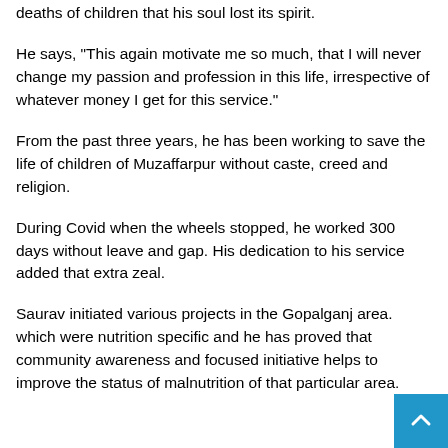deaths of children that his soul lost its spirit.
He says, "This again motivate me so much, that I will never change my passion and profession in this life, irrespective of whatever money I get for this service."
From the past three years, he has been working to save the life of children of Muzaffarpur without caste, creed and religion.
During Covid when the wheels stopped, he worked 300 days without leave and gap. His dedication to his service added that extra zeal.
Saurav initiated various projects in the Gopalganj area. which were nutrition specific and he has proved that community awareness and focused initiative helps to improve the status of malnutrition of that particular area.